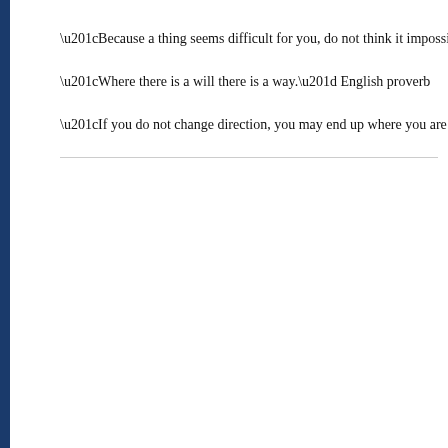“Because a thing seems difficult for you, do not think it impossible for any
“Where there is a will there is a way.” English proverb
“If you do not change direction, you may end up where you are heading.”